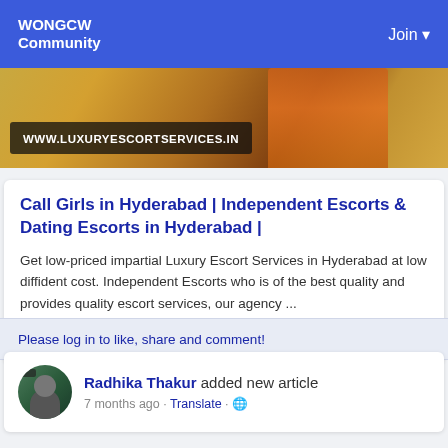WONGCW Community | Join
[Figure (photo): Banner image with sandy/outdoor background and a person in orange clothing. Overlay text: WWW.LUXURYESCORTSERVICES.IN]
Call Girls in Hyderabad | Independent Escorts & Dating Escorts in Hyderabad |
Get low-priced impartial Luxury Escort Services in Hyderabad at low diffident cost. Independent Escorts who is of the best quality and provides quality escort services, our agency ...
0 Comments
Please log in to like, share and comment!
Radhika Thakur added new article 7 months ago - Translate - 🌐